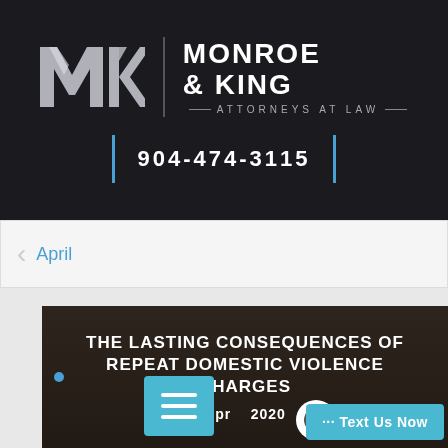[Figure (logo): Monroe & King Attorneys at Law logo with stylized MK monogram and firm name]
904-474-3115
< April
[Figure (photo): Dark background image of person in distress, overlay with article title THE LASTING CONSEQUENCES OF REPEAT DOMESTIC VIOLENCE CHARGES and date April 2020]